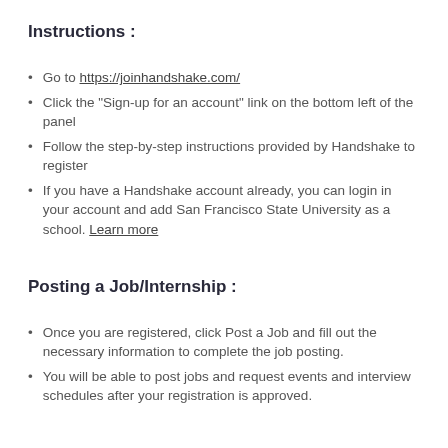Instructions :
Go to https://joinhandshake.com/
Click the "Sign-up for an account" link on the bottom left of the panel
Follow the step-by-step instructions provided by Handshake to register
If you have a Handshake account already, you can login in your account and add San Francisco State University as a school. Learn more
Posting a Job/Internship :
Once you are registered, click Post a Job and fill out the necessary information to complete the job posting.
You will be able to post jobs and request events and interview schedules after your registration is approved.